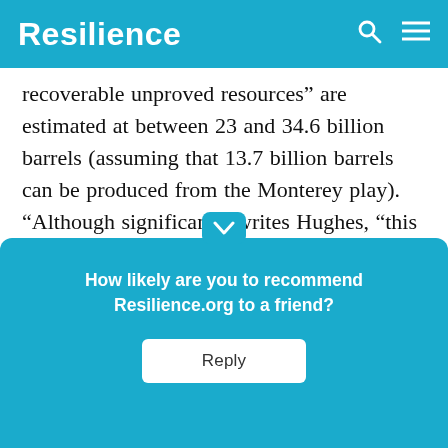Resilience
recoverable unproved resources” are estimated at between 23 and 34.6 billion barrels (assuming that 13.7 billion barrels can be produced from the Monterey play). “Although significant,” writes Hughes, “this is hardly cause for celebrating US ‘energy independence,’ as it represents somewhere between three and four years of consu[mption at current rates, even if all recoverable] [resources].”
[Figure (screenshot): Popup overlay with text 'How likely are you to recommend Resilience.org to a friend?' and a Reply button]